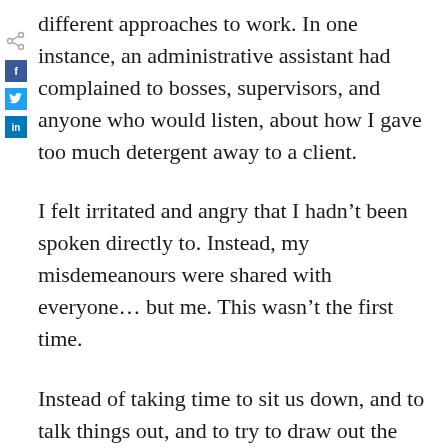different approaches to work. In one instance, an administrative assistant had complained to bosses, supervisors, and anyone who would listen, about how I gave too much detergent away to a client.
I felt irritated and angry that I hadn't been spoken directly to. Instead, my misdemeanours were shared with everyone… but me. This wasn't the first time.
Instead of taking time to sit us down, and to talk things out, and to try to draw out the elephant in the room, he arranged an individual meeting